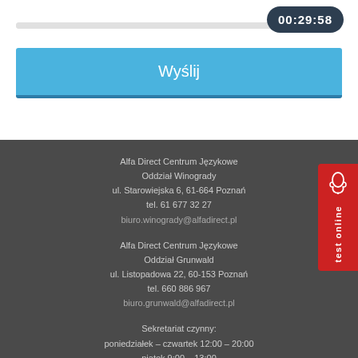00:29:58
Wyślij
Alfa Direct Centrum Językowe
Oddział Winogrady
ul. Starowiejska 6, 61-664 Poznań
tel. 61 677 32 27
biuro.winogrady@alfadirect.pl
Alfa Direct Centrum Językowe
Oddział Grunwald
ul. Listopadowa 22, 60-153 Poznań
tel. 660 886 967
biuro.grunwald@alfadirect.pl
Sekretariat czynny:
poniedziałek – czwartek 12:00 – 20:00
piątek 9:00 – 13:00